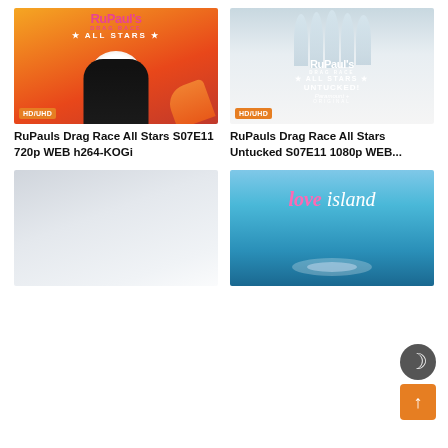[Figure (photo): RuPaul's Drag Race All Stars promotional poster with orange/red background and white-haired drag queen, HD/UHD badge]
RuPauls Drag Race All Stars S07E11 720p WEB h264-KOGi
[Figure (photo): RuPaul's Drag Race All Stars Untucked Paramount+ original poster with group of drag queens, HD/UHD badge]
RuPauls Drag Race All Stars Untucked S07E11 1080p WEB...
[Figure (photo): Light grey/white snowy or misty background poster]
[Figure (photo): Love Island promotional poster with tropical blue ocean background and text logo]